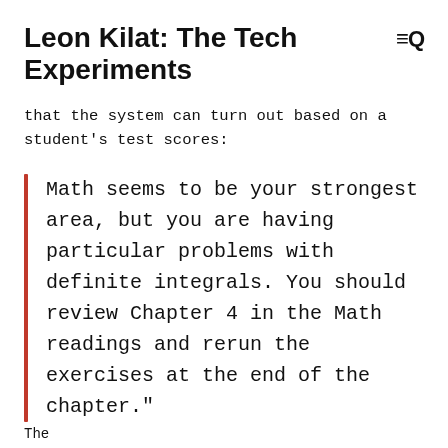Leon Kilat: The Tech Experiments
that the system can turn out based on a student's test scores:
Math seems to be your strongest area, but you are having particular problems with definite integrals. You should review Chapter 4 in the Math readings and rerun the exercises at the end of the chapter."
The...